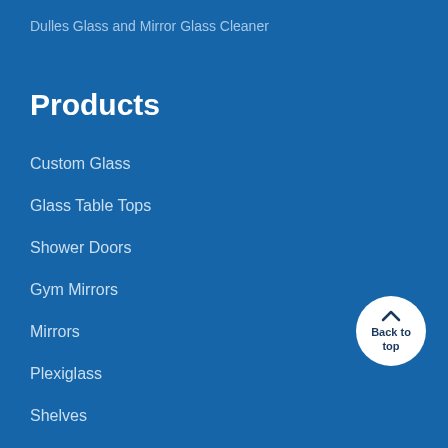Dulles Glass and Mirror Glass Cleaner
Products
Custom Glass
Glass Table Tops
Shower Doors
Gym Mirrors
Mirrors
Plexiglass
Shelves
All Products
[Figure (other): Back to top button — circular white button with upward chevron arrow and text 'Back to top']